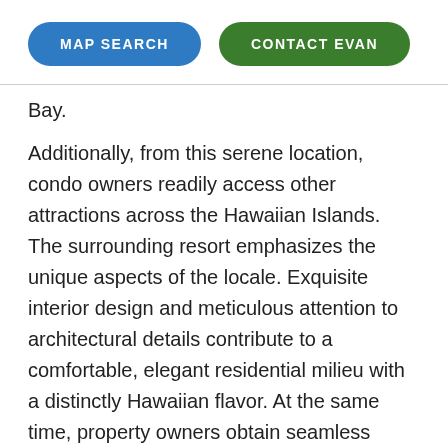[Figure (other): Two pill-shaped buttons: 'MAP SEARCH' in blue and 'CONTACT EVAN' in green]
Bay.
Additionally, from this serene location, condo owners readily access other attractions across the Hawaiian Islands. The surrounding resort emphasizes the unique aspects of the locale. Exquisite interior design and meticulous attention to architectural details contribute to a comfortable, elegant residential milieu with a distinctly Hawaiian flavor. At the same time, property owners obtain seamless access to airport and roadway transportation services, allowing them to travel easily for business or recreational